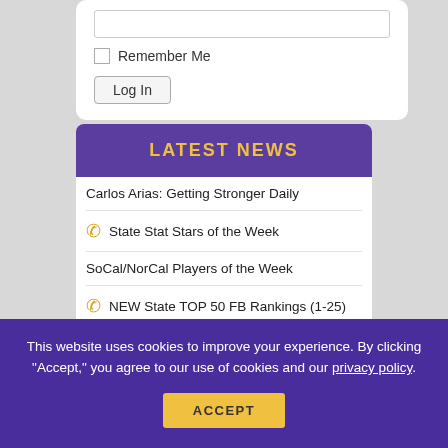[Figure (screenshot): Login form with empty password/text input field at top]
Remember Me
Log In
LATEST NEWS
Carlos Arias: Getting Stronger Daily
State Stat Stars of the Week
SoCal/NorCal Players of the Week
NEW State TOP 50 FB Rankings (1-25)
NEW State TOP 50 FB Rankings (26-50)
State TOP 25 Weekend Scoreboard
This website uses cookies to improve your experience. By clicking "Accept," you agree to our use of cookies and our privacy policy.
ACCEPT